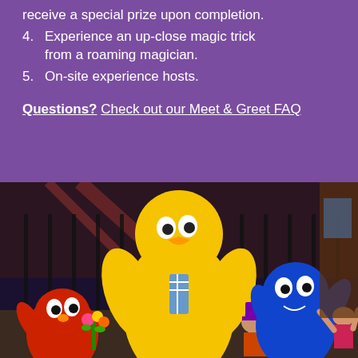receive a special prize upon completion.
4. Experience an up-close magic trick from a roaming magician.
5. On-site experience hosts.
Questions? Check out our Meet & Greet FAQ
[Figure (photo): Sesame Street characters including Big Bird (large yellow bird with a tie), Elmo (red), Grover (blue), and human performers on a stage set resembling a city street with a bridge in the background.]